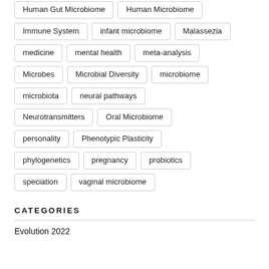Human Gut Microbiome
Human Microbiome
Immune System
infant microbiome
Malassezia
medicine
mental health
meta-analysis
Microbes
Microbial Diversity
microbiome
microbiota
neural pathways
Neurotransmitters
Oral Microbiome
personality
Phenotypic Plasticity
phylogenetics
pregnancy
probiotics
speciation
vaginal microbiome
CATEGORIES
Evolution 2022